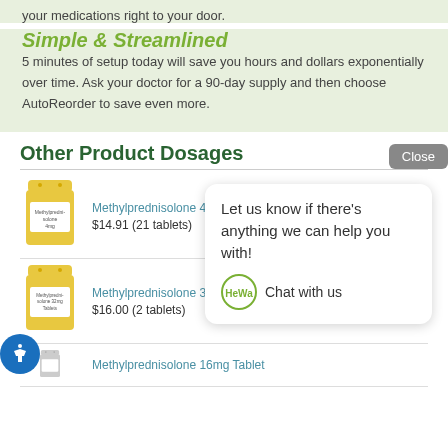your medications right to your door.
Simple & Streamlined
5 minutes of setup today will save you hours and dollars exponentially over time. Ask your doctor for a 90-day supply and then choose AutoReorder to save even more.
Other Product Dosages
[Figure (photo): Pill bottle with Methylprednisolone 4mg label]
Methylprednisolone 4mg Tablets
$14.91 (21 tablets)
[Figure (photo): Pill bottle with Methylprednisolone 32mg Tablets label]
Methylprednisolone 32mg Tablets
$16.00 (2 tablets)
[Figure (screenshot): Chat popup saying 'Let us know if there's anything we can help you with!' with HeWa logo and 'Chat with us' text]
[Figure (photo): Pill bottle for Methylprednisolone 16mg Tablet (partially visible)]
Methylprednisolone 16mg Tablet